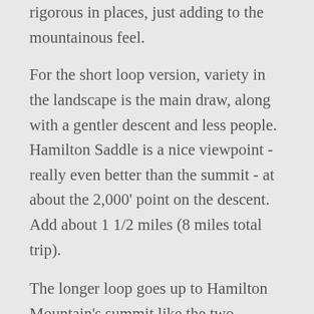rigorous in places, just adding to the mountainous feel.
For the short loop version, variety in the landscape is the main draw, along with a gentler descent and less people.  Hamilton Saddle is a nice viewpoint - really even better than the summit - at about the 2,000' point on the descent.  Add about 1 1/2 miles (8 miles total trip).
The longer loop goes up to Hamilton Mountain's summit like the two options above, but continues on north to Phlox Point.  This loop is far less crowded than Hamilton itself, and with a way better view of the Gorge and surrounding areas at the 2,000' high point.  The Hamilton/Phlox Pt is a